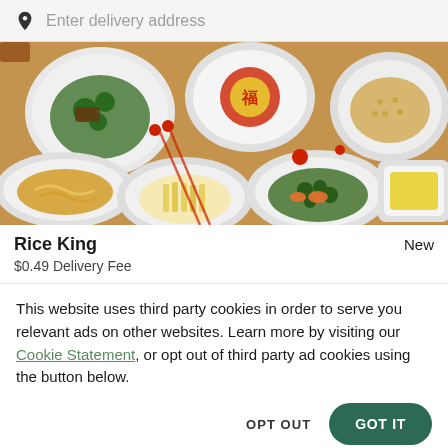Enter delivery address
[Figure (photo): Overhead view of multiple Chinese dishes including broccoli with meat, noodles, fried rice, stir-fry vegetables, fries, and a yellow sauce, arranged on a wooden table with red Chinese decorations.]
Rice King
New
$0.49 Delivery Fee
This website uses third party cookies in order to serve you relevant ads on other websites. Learn more by visiting our Cookie Statement, or opt out of third party ad cookies using the button below.
OPT OUT
GOT IT